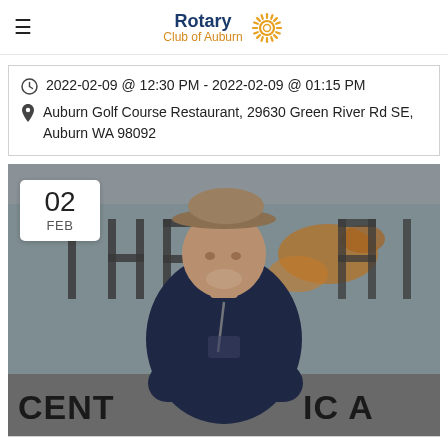Rotary Club of Auburn
2022-02-09 @ 12:30 PM - 2022-02-09 @ 01:15 PM
Auburn Golf Course Restaurant, 29630 Green River Rd SE, Auburn WA 98092
[Figure (photo): Man with crossed arms standing in front of a rusty metal sign reading 'THE AN' and 'CENT... IC A', wearing a dark t-shirt and hat, with a date badge overlay showing '02 FEB']